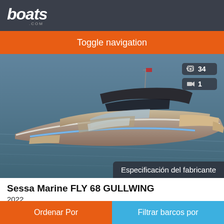boats.com
Toggle navigation
[Figure (photo): Aerial view of a Sessa Marine FLY 68 GULLWING luxury motor yacht on water with blue accent lighting, showing flybridge and open deck areas. Overlay badge shows 34 photos and 1 video. Label: Especificación del fabricante]
Sessa Marine FLY 68 GULLWING
2022
Ordenar Por
Filtrar barcos por